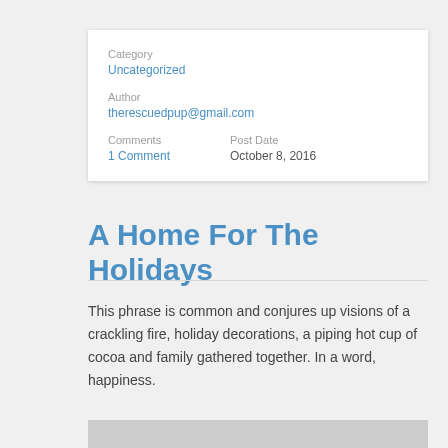Category
Uncategorized

Author
therescuedpup@gmail.com

Comments  Post Date
1 Comment  October 8, 2016
A Home For The Holidays
This phrase is common and conjures up visions of a crackling fire, holiday decorations, a piping hot cup of cocoa and family gathered together. In a word, happiness.
[Figure (photo): Partial photo visible at bottom of page]